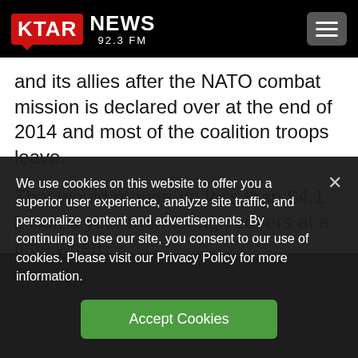KTAR NEWS 92.3 FM
and its allies after the NATO combat mission is declared over at the end of 2014 and most of the coalition troops leave.
That would require no less than $4.1 billion a year from foreign coffers at a time when
We use cookies on this website to offer you a superior user experience, analyze site traffic, and personalize content and advertisements. By continuing to use our site, you consent to our use of cookies. Please visit our Privacy Policy for more information.